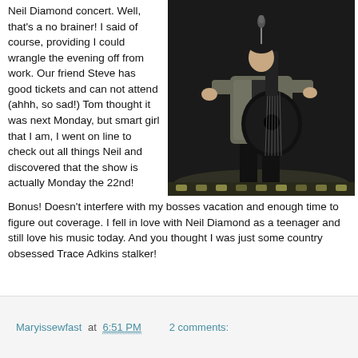Neil Diamond concert. Well, that's a no brainer! I said of course, providing I could wrangle the evening off from work. Our friend Steve has good tickets and can not attend (ahhh, so sad!) Tom thought it was next Monday, but smart girl that I am, I went on line to check out all things Neil and discovered that the show is actually Monday the 22nd! Bonus! Doesn't interfere with my bosses vacation and enough time to figure out coverage. I fell in love with Neil Diamond as a teenager and still love his music today. And you thought I was just some country obsessed Trace Adkins stalker!
[Figure (photo): A man in a metallic/grey jacket playing a black acoustic guitar on a dark stage, singing into a microphone — appears to be Neil Diamond performing in concert.]
Maryissewfast at 6:51 PM   2 comments: